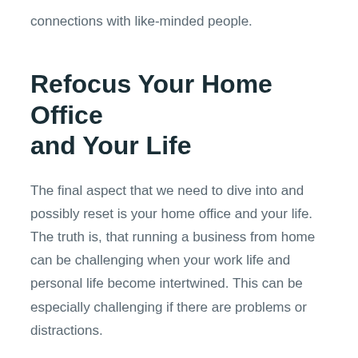connections with like-minded people.
Refocus Your Home Office and Your Life
The final aspect that we need to dive into and possibly reset is your home office and your life. The truth is, that running a business from home can be challenging when your work life and personal life become intertwined. This can be especially challenging if there are problems or distractions.